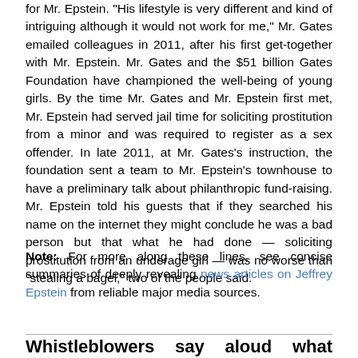for Mr. Epstein. "His lifestyle is very different and kind of intriguing although it would not work for me," Mr. Gates emailed colleagues in 2011, after his first get-together with Mr. Epstein. Mr. Gates and the $51 billion Gates Foundation have championed the well-being of young girls. By the time Mr. Gates and Mr. Epstein first met, Mr. Epstein had served jail time for soliciting prostitution from a minor and was required to register as a sex offender. In late 2011, at Mr. Gates's instruction, the foundation sent a team to Mr. Epstein's townhouse to have a preliminary talk about philanthropic fund-raising. Mr. Epstein told his guests that if they searched his name on the internet they might conclude he was a bad person but that what he had done — soliciting prostitution from an underage girl — was no worse than "stealing a bagel," two of the people said.
Note: For more along these lines, see concise summaries of deeply revealing news articles on Jeffrey Epstein from reliable major media sources.
Whistleblowers say aloud what many of us